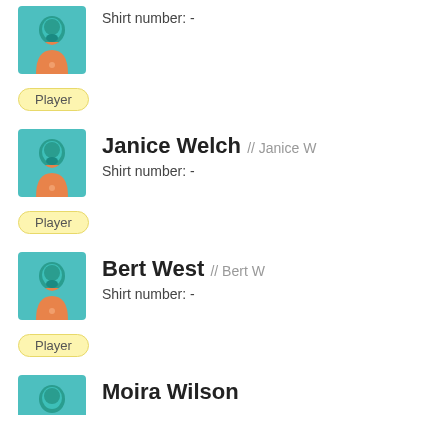[Figure (illustration): Generic player avatar: teal silhouette with orange jersey]
Shirt number: -
Player
Janice Welch // Janice W
Shirt number: -
Player
Bert West // Bert W
Shirt number: -
Player
Moira Wilson